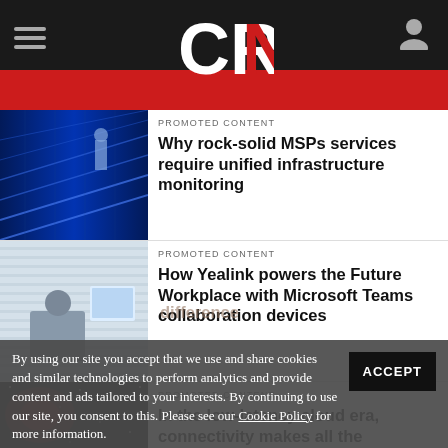CRN
PROMOTED CONTENT
Why rock-solid MSPs services require unified infrastructure monitoring
PROMOTED CONTENT
How Yealink powers the Future Workplace with Microsoft Teams collaboration devices
PROMOTED CONTENT
In the low-latency cloud era, connectivity makes all the difference
By using our site you accept that we use and share cookies and similar technologies to perform analytics and provide content and ads tailored to your interests. By continuing to use our site, you consent to this. Please see our Cookie Policy for more information.